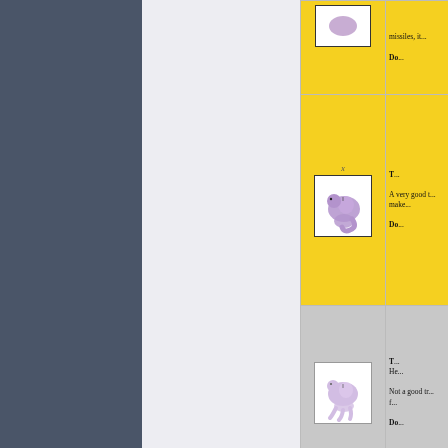[Figure (illustration): Partial view of a document page showing a table with purple snake/worm creature icons in bordered boxes. Left portion shows dark slate-blue panel and light gray middle panel, cut off. Right portion shows two yellow-background rows and one gray-background row with snake creature images and text fragments.]
| Image | Description |
| --- | --- |
| [snake icon] | missiles, it...

Do... |
| [snake icon row 2] | T...

A very good t... make...

Do... |
| [snake icon row 3] | T...
He...

Not a good tr... f...

Do... |